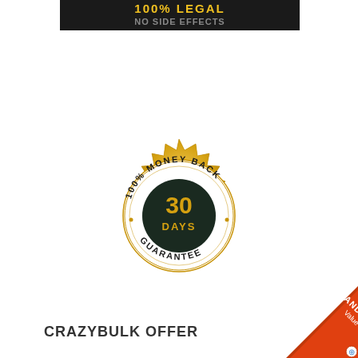[Figure (illustration): Black banner at top with text '100% LEGAL' in bold yellow/white letters and partial text below it]
[Figure (illustration): Gold seal/badge with serrated edges showing '100% MONEY BACK 30 DAYS GUARANTEE' text. Center dark circle with '30 DAYS' in gold text.]
CRAZYBULK OFFER
[Figure (illustration): Orange/red diagonal ribbon in bottom-right corner with 'BRAND Value' text and a plus icon]